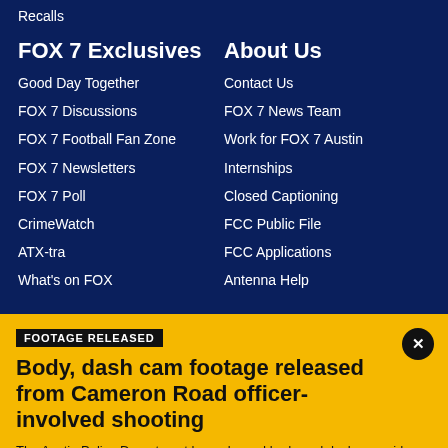Recalls
FOX 7 Exclusives
Good Day Together
FOX 7 Discussions
FOX 7 Football Fan Zone
FOX 7 Newsletters
FOX 7 Poll
CrimeWatch
ATX-tra
What's on FOX
About Us
Contact Us
FOX 7 News Team
Work for FOX 7 Austin
Internships
Closed Captioning
FCC Public File
FCC Applications
Antenna Help
FOOTAGE RELEASED
Body, dash cam footage released from Cameron Road officer-involved shooting
The Austin Police Department has released body and dash cam video from an officer-involved shooting in Northeast Austin earlier this month.